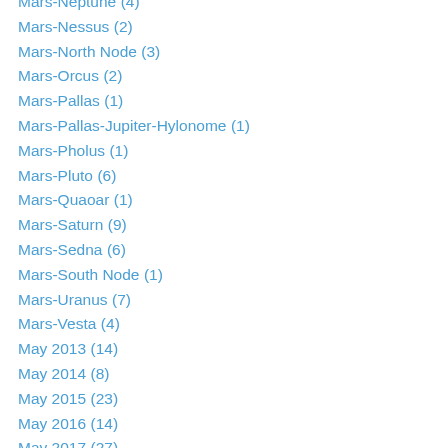Mars-Neptune (4)
Mars-Nessus (2)
Mars-North Node (3)
Mars-Orcus (2)
Mars-Pallas (1)
Mars-Pallas-Jupiter-Hylonome (1)
Mars-Pholus (1)
Mars-Pluto (6)
Mars-Quaoar (1)
Mars-Saturn (9)
Mars-Sedna (6)
Mars-South Node (1)
Mars-Uranus (7)
Mars-Vesta (4)
May 2013 (14)
May 2014 (8)
May 2015 (23)
May 2016 (14)
May 2017 (27)
May 2018 (12)